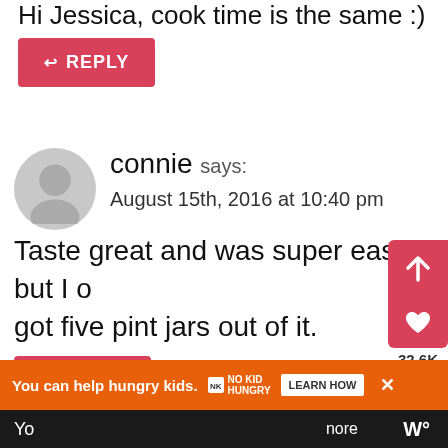Hi Jessica, cook time is the same :)
REPLY
connie says:
August 15th, 2016 at 10:40 pm
Taste great and was super easy but I only got five pint jars out of it.
REPLY
Cathy Kopp says:
August 16th, 2016 at 1:17 pm
You can help hungry kids.
LEARN HOW